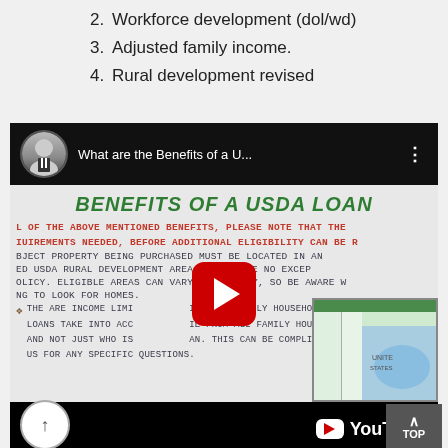2. Workforce development (dol/wd)
3. Adjusted family income.
4. Rural development revised
[Figure (screenshot): YouTube video player showing 'What are the Benefits of a U...' video about BENEFITS OF A USDA LOAN, with a red play button overlay and a YouTube logo at the bottom.]